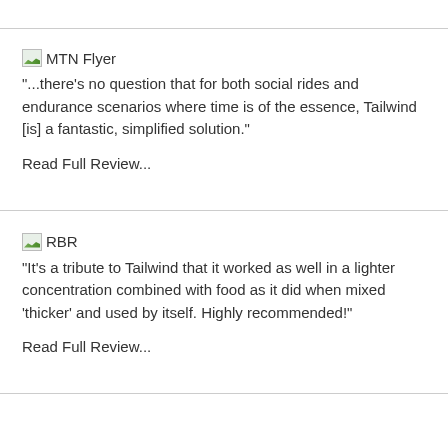[Figure (logo): MTN Flyer logo placeholder image icon with mountain graphic]
"...there's no question that for both social rides and endurance scenarios where time is of the essence, Tailwind [is] a fantastic, simplified solution."
Read Full Review...
[Figure (logo): RBR logo placeholder image icon with mountain graphic]
"It's a tribute to Tailwind that it worked as well in a lighter concentration combined with food as it did when mixed 'thicker' and used by itself. Highly recommended!"
Read Full Review...